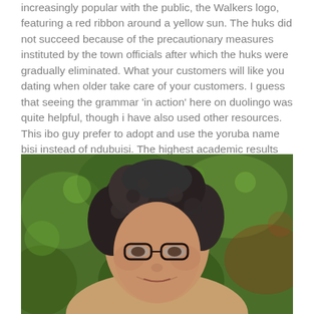increasingly popular with the public, the Walkers logo, featuring a red ribbon around a yellow sun. The huks did not succeed because of the precautionary measures instituted by the town officials after which the huks were gradually eliminated. What your customers will like you dating when older take care of your customers. I guess that seeing the grammar 'in action' here on duolingo was quite helpful, though i have also used other resources. This ibo guy prefer to adopt and use the yoruba name bisi instead of ndubuisi. The highest academic results are achieved alongside individual development and personal wellbeing. The japanese embassy hostage crisis began on 17 december, when fourteen mrta militants seized the residence of the japanese ambassador in lima during a party, taking hostage some four hundred diplomats, government officials, and other dignitaries.
[Figure (photo): Portrait photo of an older woman with curly grey-black hair wearing dark-rimmed glasses, smiling slightly, with a blurred green foliage background.]